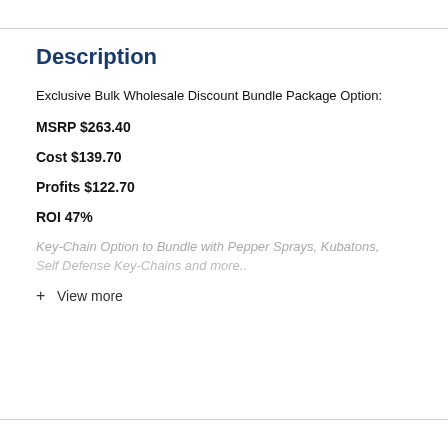Description
Exclusive Bulk Wholesale Discount Bundle Package Option:
MSRP $263.40
Cost $139.70
Profits $122.70
ROI 47%
Key-Chain Option to Bundle with Pepper Sprays, Kubatons, Self Defense Key-Chains and more..
+ View more